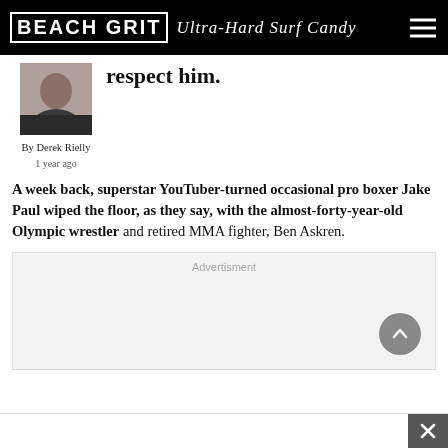BEACH GRIT Ultra-Hard Surf Candy
[Figure (photo): Partial photo of a person wearing a dark shirt, cropped at neck/shoulders]
respect him.
By Derek Rielly
1 year ago
A week back, superstar YouTuber-turned occasional pro boxer Jake Paul wiped the floor, as they say, with the almost-forty-year-old Olympic wrestler and retired MMA fighter, Ben Askren.
[Figure (other): Advertisement placeholder box with 'Advertisment' label and back-to-top button]